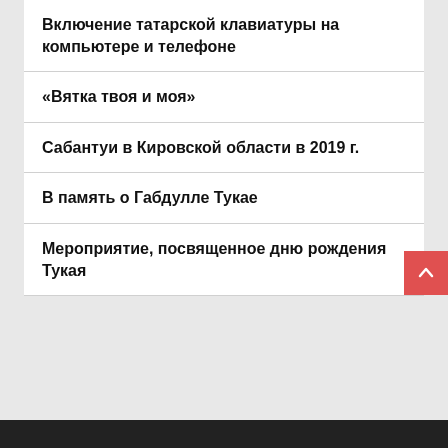Включение татарской клавиатуры на компьютере и телефоне
«Вятка твоя и моя»
Сабантуи в Кировской области в 2019 г.
В память о Габдулле Тукае
Мероприятие, посвященное дню рождения Тукая